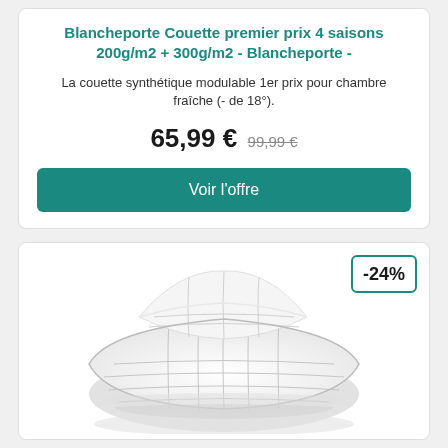Blancheporte Couette premier prix 4 saisons 200g/m2 + 300g/m2 - Blancheporte -
La couette synthétique modulable 1er prix pour chambre fraîche (- de 18°).
65,99 € 99,99 €
Voir l'offre
-24%
[Figure (photo): A folded white synthetic duvet/comforter photographed on white background, showing quilted texture and rolled/folded presentation.]